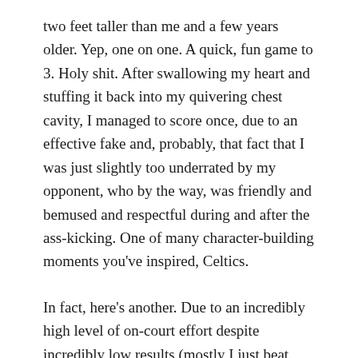two feet taller than me and a few years older. Yep, one on one. A quick, fun game to 3. Holy shit. After swallowing my heart and stuffing it back into my quivering chest cavity, I managed to score once, due to an effective fake and, probably, that fact that I was just slightly too underrated by my opponent, who by the way, was friendly and bemused and respectful during and after the ass-kicking. One of many character-building moments you've inspired, Celtics.
In fact, here's another. Due to an incredibly high level of on-court effort despite incredibly low results (mostly I just beat everyone up and down with the court, yet was rarely if ever trusted with a long pass for an easy layup), I was awarded "Camper